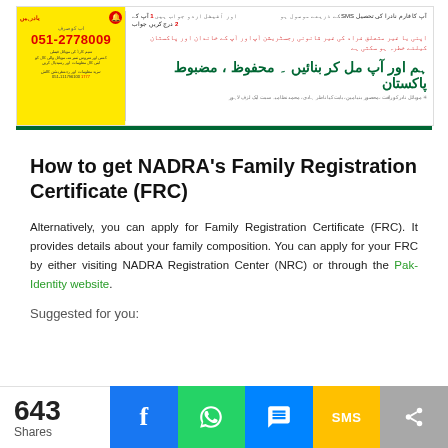[Figure (infographic): NADRA awareness banner with Urdu text, phone number 051-2778009, SMS info, and tagline in Urdu/Urdu script about family registration. Green border at bottom.]
How to get NADRA's Family Registration Certificate (FRC)
Alternatively, you can apply for Family Registration Certificate (FRC). It provides details about your family composition. You can apply for your FRC by either visiting NADRA Registration Center (NRC) or through the Pak-Identity website.
Suggested for you: